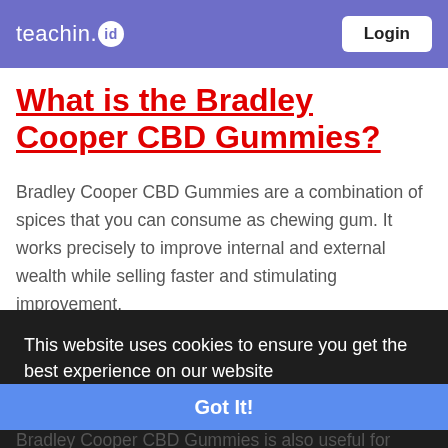teachin.id  Login
What is the Bradley Cooper CBD Gummies?
Bradley Cooper CBD Gummies are a combination of spices that you can consume as chewing gum. It works precisely to improve internal and external wealth while selling faster and stimulating improvement. Tires are sponsored according to the normal concentration method of the hemp plant. It improves
This website uses cookies to ensure you get the best experience on our website
Learn More
Got It!
Bradley Cooper CBD Gummies is also useful for